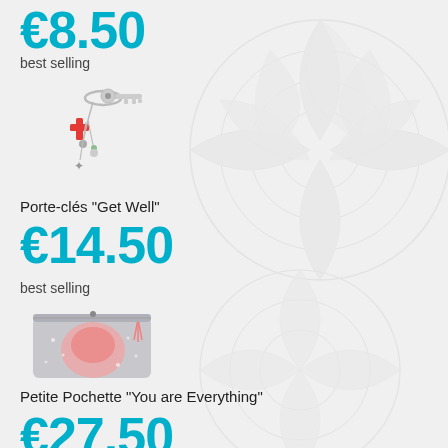€8.50
best selling
[Figure (photo): Keychain with red cross charm, small figure charms, and a key ring with keys attached]
Porte-clés "Get Well"
€14.50
best selling
[Figure (photo): Small cosmetic pouch with grey speckled pattern and pink/coral design with tassel decoration]
Petite Pochette "You are Everything"
€27.50